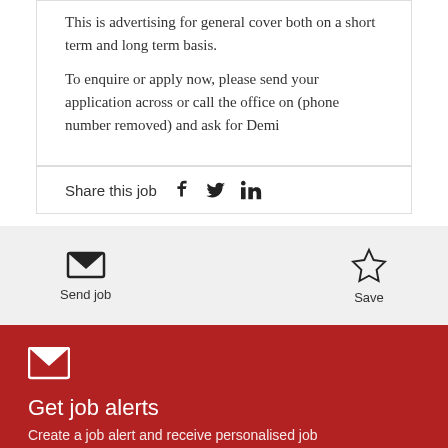This is advertising for general cover both on a short term and long term basis.
To enquire or apply now, please send your application across or call the office on (phone number removed) and ask for Demi
Share this job
Send job
Save
Get job alerts
Create a job alert and receive personalised job